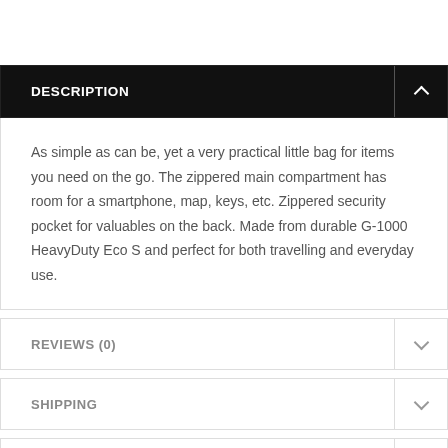DESCRIPTION
As simple as can be, yet a very practical little bag for items you need on the go. The zippered main compartment has room for a smartphone, map, keys, etc. Zippered security pocket for valuables on the back. Made from durable G-1000 HeavyDuty Eco S and perfect for both travelling and everyday use.
REVIEWS (0)
SHIPPING
CONTACT